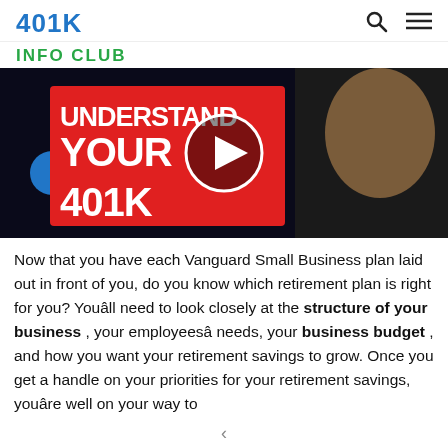401K
INFO CLUB
[Figure (screenshot): Video thumbnail showing text 'UNDERSTAND YOUR 401K' on a red background with a man smiling, overlaid with a white play button circle.]
Now that you have each Vanguard Small Business plan laid out in front of you, do you know which retirement plan is right for you? Youâll need to look closely at the structure of your business , your employeesâ needs, your business budget , and how you want your retirement savings to grow. Once you get a handle on your priorities for your retirement savings, youâre well on your way to